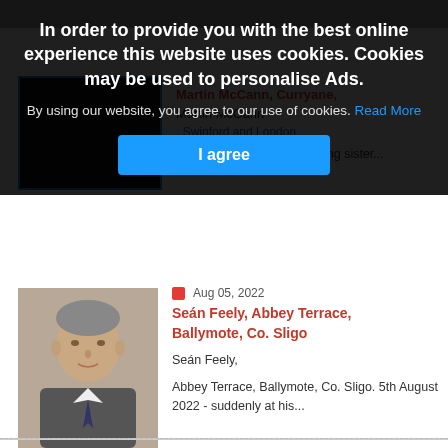In order to provide you with the best online experience this website uses cookies. Cookies may be used to personalise Ads.
By using our website, you agree to our use of cookies. Read More
I agree
Martin McCann, Curryane,
Martin McCann
, Swinford and London
Deeply regretted by his loving sister...
Aug 05, 2022
Seán Feely, Abbey Terrace, Ballymote, Co. Sligo
Seán Feely,
Abbey Terrace, Ballymote, Co. Sligo. 5th August 2022 - suddenly at his...